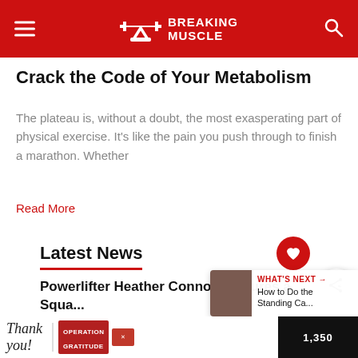Breaking Muscle
Crack the Code of Your Metabolism
The plateau is, without a doubt, the most exasperating part of physical exercise. It's like the pain you push through to finish a marathon. Whether
Read More
Latest News
Powerlifter Heather Connor Captures a Squa... By Over 20 Pounds
Powerlifter Sherine Marcelle (90KG)... Pounds Over the World Record, Twice, in Training
[Figure (other): Advertisement banner at bottom: Thank You image with Operation Gratitude military firefighters photo]